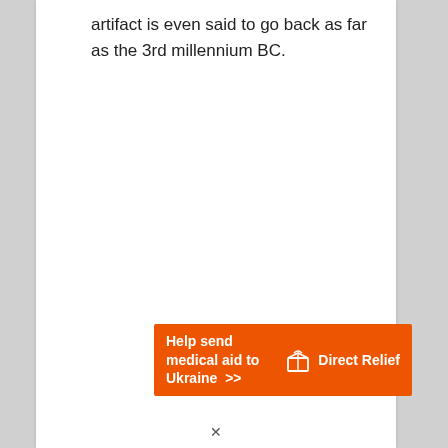artifact is even said to go back as far as the 3rd millennium BC.
[Figure (other): Direct Relief advertisement banner: orange background with white bold text 'Help send medical aid to Ukraine >>' and Direct Relief logo (white box/package icon) with white text 'Direct Relief']